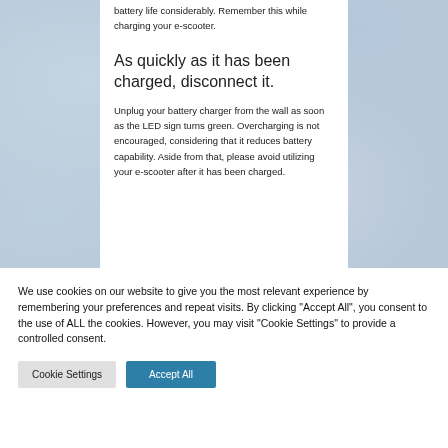battery life considerably. Remember this while charging your e-scooter.
As quickly as it has been charged, disconnect it.
Unplug your battery charger from the wall as soon as the LED sign turns green. Overcharging is not encouraged, considering that it reduces battery capability. Aside from that, please avoid utilizing your e-scooter after it has been charged.
We use cookies on our website to give you the most relevant experience by remembering your preferences and repeat visits. By clicking "Accept All", you consent to the use of ALL the cookies. However, you may visit "Cookie Settings" to provide a controlled consent.